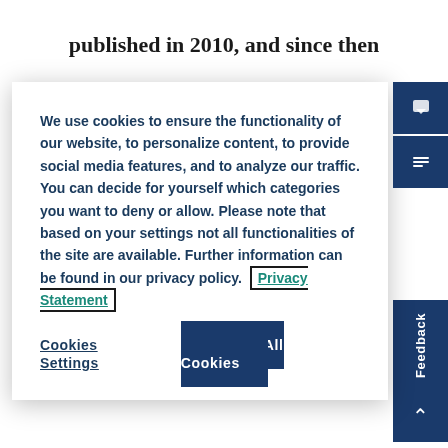published in 2010, and since then
We use cookies to ensure the functionality of our website, to personalize content, to provide social media features, and to analyze our traffic. You can decide for yourself which categories you want to deny or allow. Please note that based on your settings not all functionalities of the site are available. Further information can be found in our privacy policy. Privacy Statement
Cookies Settings
Accept All Cookies
advanced age, most in their nineties. The author interviewed 185 men and women and went as far as Nepal and Japan to find them. These were ordinary people, not persons of authority, with one exception: Soemarsono, who was closely involved in the Communist Revolt, which started in Madiun in September 8. Th
Feedback